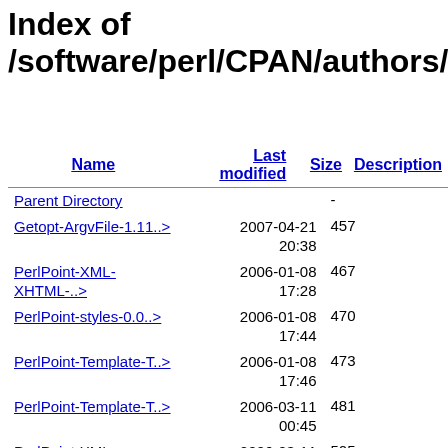Index of /software/perl/CPAN/authors/id/
| Name | Last modified | Size | Description |
| --- | --- | --- | --- |
| Parent Directory |  | - |  |
| Getopt-ArgvFile-1.11..> | 2007-04-21 20:38 | 457 |  |
| PerlPoint-XML-XHTML-..> | 2006-01-08 17:28 | 467 |  |
| PerlPoint-styles-0.0..> | 2006-01-08 17:44 | 470 |  |
| PerlPoint-Template-T..> | 2006-01-08 17:46 | 473 |  |
| PerlPoint-Template-T..> | 2006-03-11 00:45 | 481 |  |
| PerlPoint-XML-XHTML-..> | 2006-03-11 20:40 | 505 |  |
| PerlPoint-Template-T..> | 2006-03-11 00:48 | 511 |  |